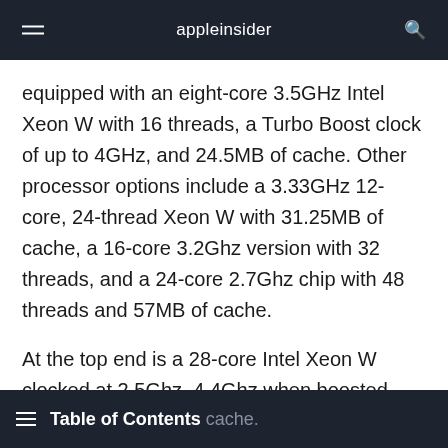appleinsider
equipped with an eight-core 3.5GHz Intel Xeon W with 16 threads, a Turbo Boost clock of up to 4GHz, and 24.5MB of cache. Other processor options include a 3.33GHz 12-core, 24-thread Xeon W with 31.25MB of cache, a 16-core 3.2Ghz version with 32 threads, and a 24-core 2.7Ghz chip with 48 threads and 57MB of cache.
At the top end is a 28-core Intel Xeon W clocked at 2.5Ghz, 4.4Ghz when boosted. Supporting 2933Mz memory, it offers 56
Table of Contents cache.